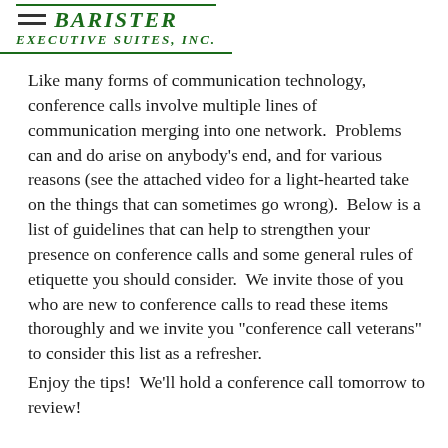BARISTER EXECUTIVE SUITES, INC.
Like many forms of communication technology, conference calls involve multiple lines of communication merging into one network.  Problems can and do arise on anybody’s end, and for various reasons (see the attached video for a light-hearted take on the things that can sometimes go wrong).  Below is a list of guidelines that can help to strengthen your presence on conference calls and some general rules of etiquette you should consider.  We invite those of you who are new to conference calls to read these items thoroughly and we invite you “conference call veterans” to consider this list as a refresher.
Enjoy the tips!  We’ll hold a conference call tomorrow to review!